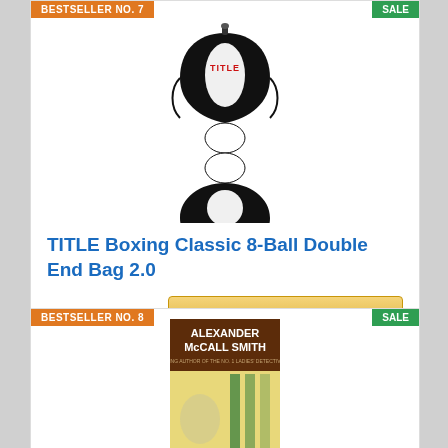[Figure (photo): TITLE Boxing Classic 8-Ball Double End Bag 2.0 product image — a figure-8 shaped punching bag in black and white with TITLE logo]
TITLE Boxing Classic 8-Ball Double End Bag 2.0
Check on Amazon
BESTSELLER NO. 8
SALE
[Figure (photo): Alexander McCall Smith book cover]